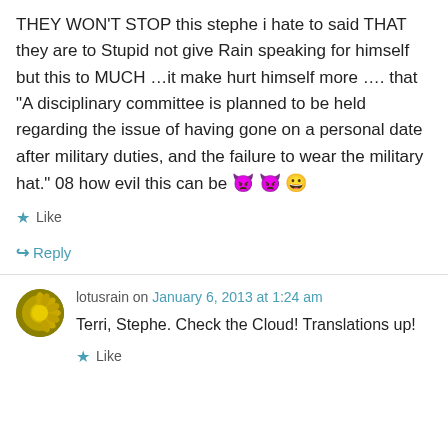THEY WON'T STOP this stephe i hate to said THAT they are to Stupid not give Rain speaking for himself but this to MUCH …it make hurt himself more …. that “A disciplinary committee is planned to be held regarding the issue of having gone on a personal date after military duties, and the failure to wear the military hat.” 08 how evil this can be 👿 👿 😀
Like
Reply
lotusrain on January 6, 2013 at 1:24 am
Terri, Stephe. Check the Cloud! Translations up!
Like